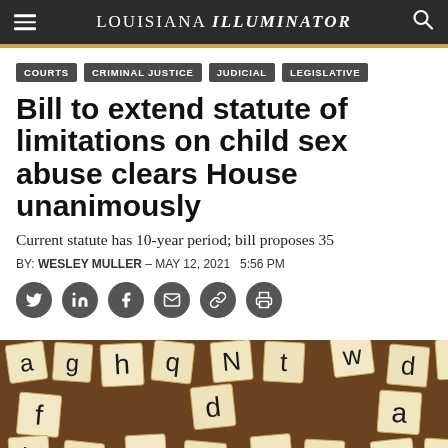LOUISIANA ILLUMINATOR
COURTS
CRIMINAL JUSTICE
JUDICIAL
LEGISLATIVE
Bill to extend statute of limitations on child sex abuse clears House unanimously
Current statute has 10-year period; bill proposes 35
BY: WESLEY MULLER - MAY 12, 2021  5:56 PM
[Figure (photo): Scattered Scrabble letter tiles on a wooden surface]